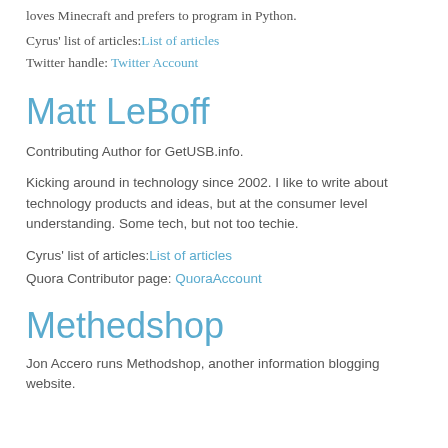loves Minecraft and prefers to program in Python.
Cyrus' list of articles: List of articles
Twitter handle: Twitter Account
Matt LeBoff
Contributing Author for GetUSB.info.
Kicking around in technology since 2002. I like to write about technology products and ideas, but at the consumer level understanding. Some tech, but not too techie.
Cyrus' list of articles: List of articles
Quora Contributor page: QuoraAccount
Methedshop
Jon Accero runs Methodshop, another information blogging website.